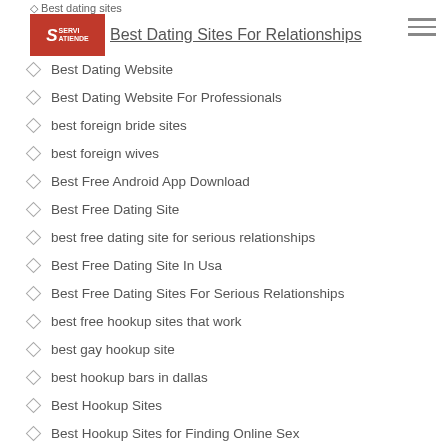Best dating sites | Best Dating Sites For Relationships
Best Dating Website
Best Dating Website For Professionals
best foreign bride sites
best foreign wives
Best Free Android App Download
Best Free Dating Site
best free dating site for serious relationships
Best Free Dating Site In Usa
Best Free Dating Sites For Serious Relationships
best free hookup sites that work
best gay hookup site
best hookup bars in dallas
Best Hookup Sites
Best Hookup Sites for Finding Online Sex
best lesbians site
Best On Line Dating